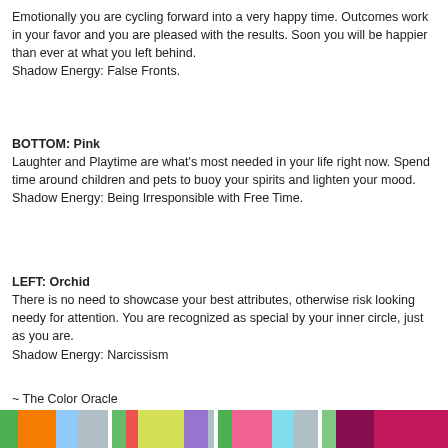Emotionally you are cycling forward into a very happy time. Outcomes work in your favor and you are pleased with the results. Soon you will be happier than ever at what you left behind.
Shadow Energy: False Fronts.
BOTTOM: Pink
Laughter and Playtime are what's most needed in your life right now. Spend time around children and pets to buoy your spirits and lighten your mood.
Shadow Energy: Being Irresponsible with Free Time.
LEFT: Orchid
There is no need to showcase your best attributes, otherwise risk looking needy for attention. You are recognized as special by your inner circle, just as you are.
Shadow Energy: Narcissism
~ The Color Oracle
[Figure (illustration): A row of colorful vertical color swatches/bars in various colors including green, orange, light blue, green, red, yellow-green, blue-purple, green, pink, light blue, purple, green, magenta/deep pink.]